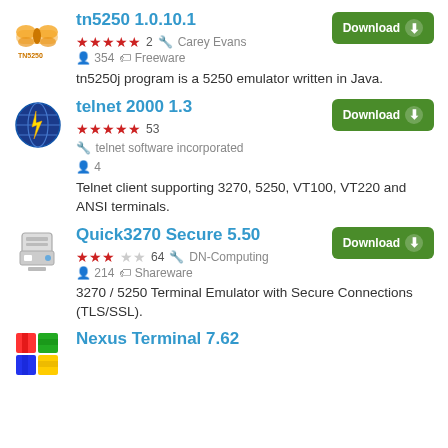tn5250 1.0.10.1 — ★★★★★ 2 — Carey Evans — 354 users — Freeware — tn5250j program is a 5250 emulator written in Java.
telnet 2000 1.3 — ★★★★★ 53 — telnet software incorporated — 4 users — Telnet client supporting 3270, 5250, VT100, VT220 and ANSI terminals.
Quick3270 Secure 5.50 — ★★★☆☆ 64 — DN-Computing — 214 users — Shareware — 3270 / 5250 Terminal Emulator with Secure Connections (TLS/SSL).
Nexus Terminal 7.62